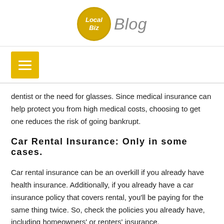Local Biz Blog
dentist or the need for glasses. Since medical insurance can help protect you from high medical costs, choosing to get one reduces the risk of going bankrupt.
Car Rental Insurance: Only in some cases.
Car rental insurance can be an overkill if you already have health insurance. Additionally, if you already have a car insurance policy that covers rental, you'll be paying for the same thing twice. So, check the policies you already have, including homeowners' or renters' insurance.
You can consider getting this type of policy if you don't have any policy that already covers you, if you are traveling abroad or if you are traveling for business and your company doesn't cover rental...